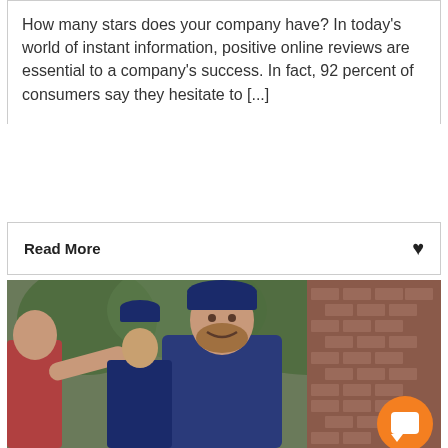How many stars does your company have? In today's world of instant information, positive online reviews are essential to a company's success. In fact, 92 percent of consumers say they hesitate to [...]
Read More
[Figure (photo): Two men in navy blue uniforms and caps, appearing to be service workers or delivery people, smiling and shaking hands with someone (partially visible in red) at a doorway with brick wall and trees in background. An orange chat/messenger button overlay appears in the bottom right.]